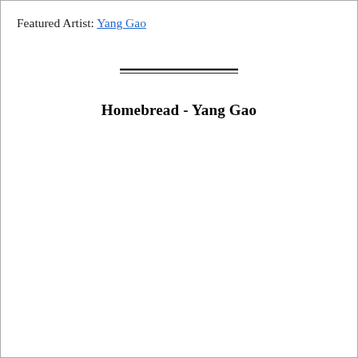Featured Artist: Yang Gao
Homebread - Yang Gao